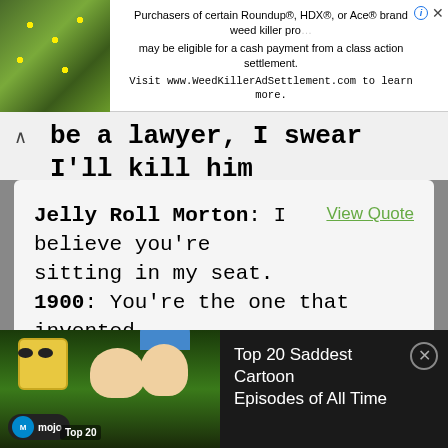[Figure (screenshot): Advertisement banner: green plant photo on left, text about Roundup/HDX/Ace weed killer class action settlement, visit www.WeedKillerAdSettlement.com]
be a lawyer, I swear I'll kill him myself.
Jelly Roll Morton: I believe you're sitting in my seat. 1900: You're the one that invented jazz, right? Jelly Roll Morton: That's what they
View Quote
This website uses cookies
We use cookies to be able to provide social media features, analyse our traffic and behaviour of the visitors on our website and for
[Figure (screenshot): Video player bar showing cartoon characters (SpongeBob, Homer Simpson, Marge Simpson) with title 'Top 20 Saddest Cartoon Episodes of All Time' and WatchMojo branding]